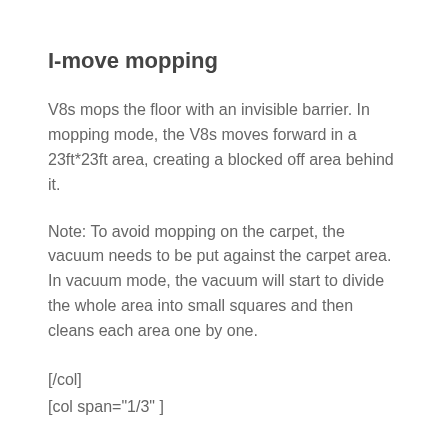I-move mopping
V8s mops the floor with an invisible barrier. In mopping mode, the V8s moves forward in a 23ft*23ft area, creating a blocked off area behind it.
Note: To avoid mopping on the carpet, the vacuum needs to be put against the carpet area. In vacuum mode, the vacuum will start to divide the whole area into small squares and then cleans each area one by one.
[/col]
[col span="1/3" ]